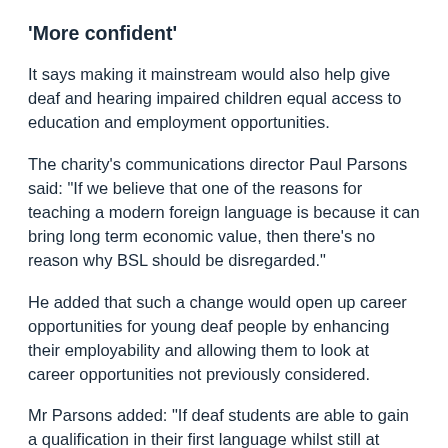‘More confident’
It says making it mainstream would also help give deaf and hearing impaired children equal access to education and employment opportunities.
The charity’s communications director Paul Parsons said: “If we believe that one of the reasons for teaching a modern foreign language is because it can bring long term economic value, then there’s no reason why BSL should be disregarded.”
He added that such a change would open up career opportunities for young deaf people by enhancing their employability and allowing them to look at career opportunities not previously considered.
Mr Parsons added: “If deaf students are able to gain a qualification in their first language whilst still at school